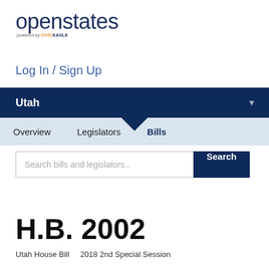[Figure (logo): openstates logo with 'powered by CIVICEAGLE' subtitle]
Log In / Sign Up
Utah
Overview  Legislators  Bills
Search bills and legislators..
H.B. 2002
Utah House Bill    2018 2nd Special Session